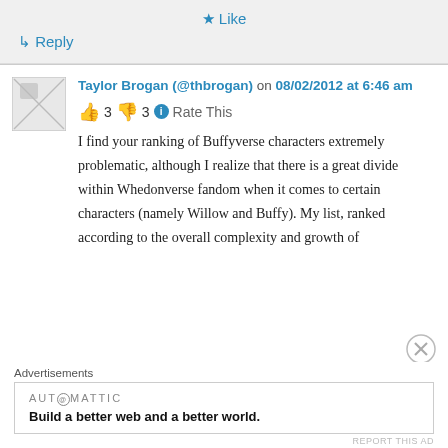★ Like
↳ Reply
Taylor Brogan (@thbrogan) on 08/02/2012 at 6:46 am
👍 3 👎 3 ℹ Rate This
I find your ranking of Buffyverse characters extremely problematic, although I realize that there is a great divide within Whedonverse fandom when it comes to certain characters (namely Willow and Buffy). My list, ranked according to the overall complexity and growth of
Advertisements
AUTOMATTIC
Build a better web and a better world.